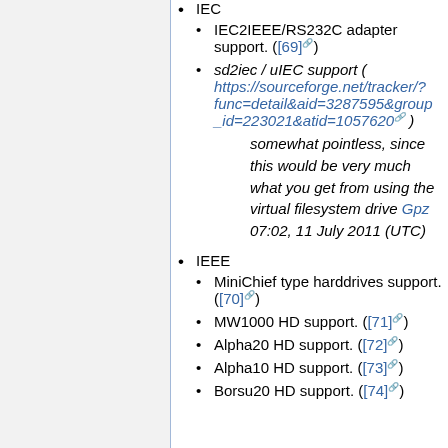IEC
IEC2IEEE/RS232C adapter support. ([69])
sd2iec / uIEC support ( https://sourceforge.net/tracker/?func=detail&aid=3287595&group_id=223021&atid=1057620 ) somewhat pointless, since this would be very much what you get from using the virtual filesystem drive Gpz 07:02, 11 July 2011 (UTC)
IEEE
MiniChief type harddrives support. ([70])
MW1000 HD support. ([71])
Alpha20 HD support. ([72])
Alpha10 HD support. ([73])
Borsu20 HD support. ([74])